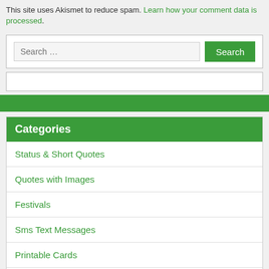This site uses Akismet to reduce spam. Learn how your comment data is processed.
Search …
Categories
Status & Short Quotes
Quotes with Images
Festivals
Sms Text Messages
Printable Cards
Blog
Pages